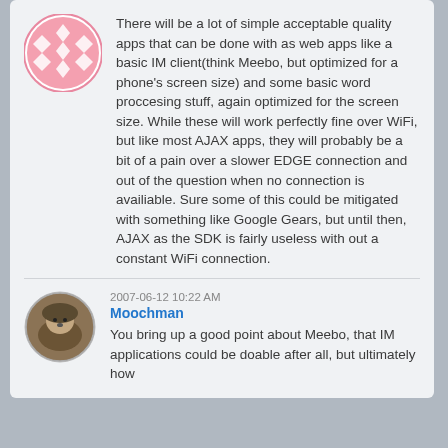There will be a lot of simple acceptable quality apps that can be done with as web apps like a basic IM client(think Meebo, but optimized for a phone's screen size) and some basic word proccesing stuff, again optimized for the screen size. While these will work perfectly fine over WiFi, but like most AJAX apps, they will probably be a bit of a pain over a slower EDGE connection and out of the question when no connection is availiable. Sure some of this could be mitigated with something like Google Gears, but until then, AJAX as the SDK is fairly useless with out a constant WiFi connection.
[Figure (illustration): Pink avatar with diamond/cross pattern on white circle background]
2007-06-12 10:22 AM
Moochman
[Figure (photo): Photo of a hedgehog in a circular avatar frame]
You bring up a good point about Meebo, that IM applications could be doable after all, but ultimately how